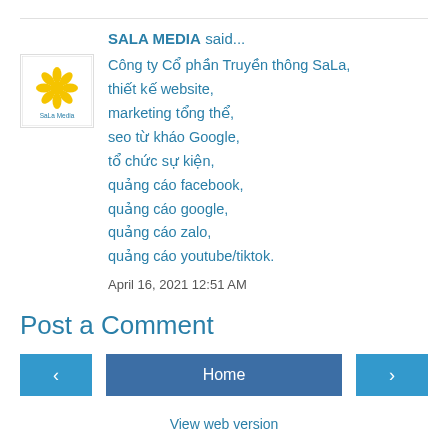SALA MEDIA said...
[Figure (logo): Sala Media logo: yellow flower/star shape on white background with 'Sala Media' text below]
Công ty Cổ phần Truyền thông SaLa, thiết kế website, marketing tổng thể, seo từ kháo Google, tổ chức sự kiện, quảng cáo facebook, quảng cáo google, quảng cáo zalo, quảng cáo youtube/tiktok.
April 16, 2021 12:51 AM
Post a Comment
Home
View web version